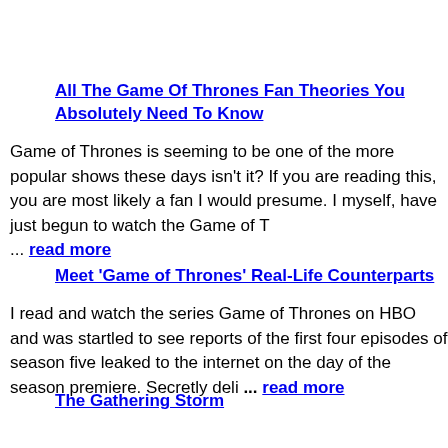All The Game Of Thrones Fan Theories You Absolutely Need To Know
Game of Thrones is seeming to be one of the more popular shows these days isn't it? If you are reading this, you are most likely a fan I would presume. I myself, have just begun to watch the Game of T ... read more
Meet 'Game of Thrones' Real-Life Counterparts
I read and watch the series Game of Thrones on HBO and was startled to see reports of the first four episodes of season five leaked to the internet on the day of the season premiere. Secretly deli ... read more
The Gathering Storm